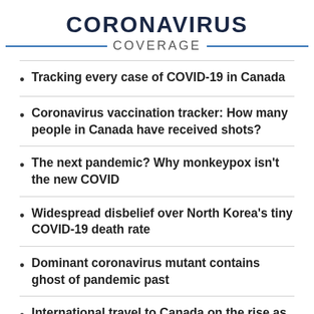CORONAVIRUS COVERAGE
Tracking every case of COVID-19 in Canada
Coronavirus vaccination tracker: How many people in Canada have received shots?
The next pandemic? Why monkeypox isn't the new COVID
Widespread disbelief over North Korea's tiny COVID-19 death rate
Dominant coronavirus mutant contains ghost of pandemic past
International travel to Canada on the rise as pandemic restrictions lift: StatCan